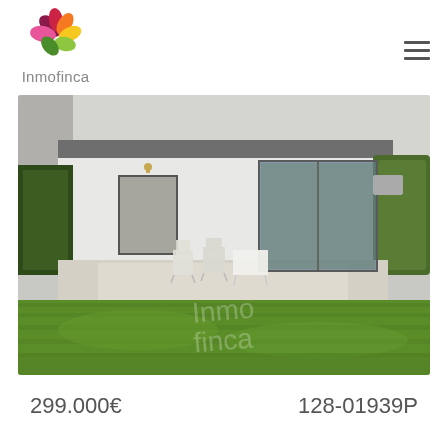[Figure (logo): Inmofinca logo: colorful flower petals (pink, red, orange, yellow, green, dark green) above the text 'Inmofinca' in grey]
[Figure (other): Hamburger menu icon (three horizontal lines)]
[Figure (photo): Exterior photo of a modern single-storey house with large glass sliding doors, white walls, terrace with outdoor chairs and table, and a large well-maintained green lawn in the foreground. Hedges on both sides.]
299.000€
128-01939P